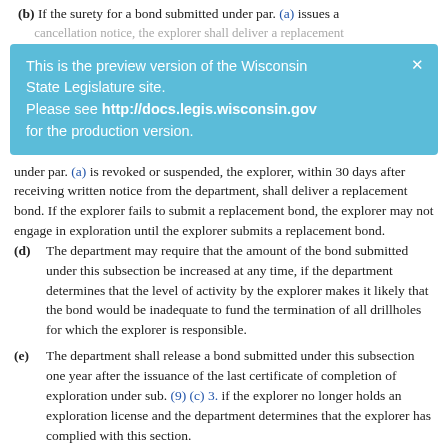(b) If the surety for a bond submitted under par. (a) issues a cancellation notice, the explorer shall deliver a replacement
This is the preview version of the Wisconsin State Legislature site. Please see http://docs.legis.wisconsin.gov for the production version. ×
under par. (a) is revoked or suspended, the explorer, within 30 days after receiving written notice from the department, shall deliver a replacement bond. If the explorer fails to submit a replacement bond, the explorer may not engage in exploration until the explorer submits a replacement bond.
(d) The department may require that the amount of the bond submitted under this subsection be increased at any time, if the department determines that the level of activity by the explorer makes it likely that the bond would be inadequate to fund the termination of all drillholes for which the explorer is responsible.
(e) The department shall release a bond submitted under this subsection one year after the issuance of the last certificate of completion of exploration under sub. (9) (c) 3. if the explorer no longer holds an exploration license and the department determines that the explorer has complied with this section.
(4) Issuance or denial of exploration license.
(a) Except as provided in par. (c), within 10 business days of